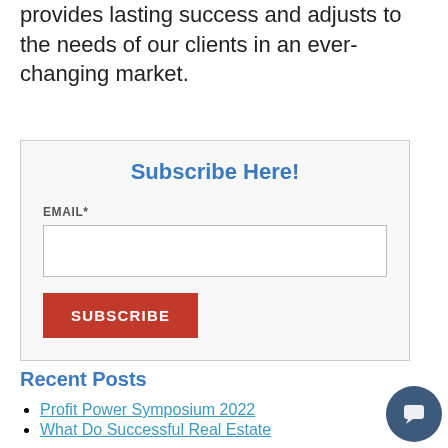provides lasting success and adjusts to the needs of our clients in an ever-changing market.
Subscribe Here!
EMAIL*
[Figure (other): Email input text field (form element)]
[Figure (other): SUBSCRIBE button in red]
Recent Posts
Profit Power Symposium 2022
What Do Successful Real Estate